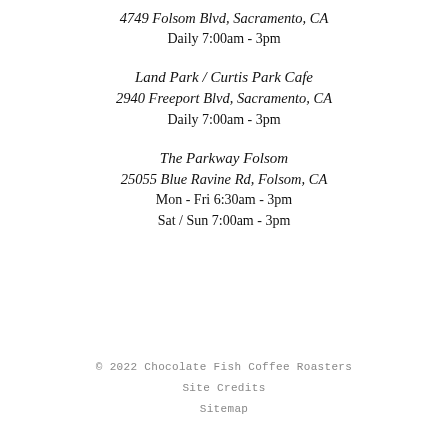4749 Folsom Blvd, Sacramento, CA
Daily 7:00am - 3pm
Land Park / Curtis Park Cafe
2940 Freeport Blvd, Sacramento, CA
Daily 7:00am - 3pm
The Parkway Folsom
25055 Blue Ravine Rd, Folsom, CA
Mon - Fri 6:30am - 3pm
Sat / Sun 7:00am - 3pm
© 2022 Chocolate Fish Coffee Roasters
Site Credits
Sitemap